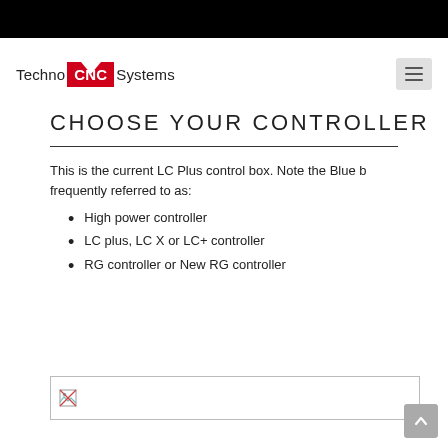Techno CNC Systems
CHOOSE YOUR CONTROLLER
This is the current LC Plus control box. Note the Blue b frequently referred to as:
High power controller
LC plus, LC X or LC+ controller
RG controller or New RG controller
[Figure (photo): Broken/placeholder image of LC Plus control box]